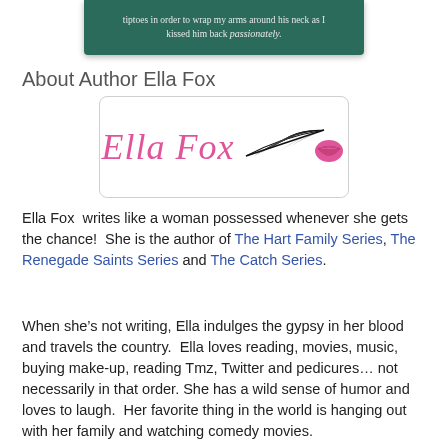[Figure (illustration): Dark green book cover image showing text: 'tiptoes in order to wrap my arms around his neck as I kissed him back passionately.']
About Author Ella Fox
[Figure (logo): Ella Fox author logo with pink cursive script text 'Ella Fox', a pink lips/kiss mark, and a black feather quill pen, inside a rounded rectangle border.]
Ella Fox  writes like a woman possessed whenever she gets the chance!  She is the author of The Hart Family Series, The Renegade Saints Series and The Catch Series.
When she’s not writing, Ella indulges the gypsy in her blood and travels the country.  Ella loves reading, movies, music, buying make-up, reading Tmz, Twitter and pedicures… not necessarily in that order. She has a wild sense of humor and loves to laugh.  Her favorite thing in the world is hanging out with her family and watching comedy movies.